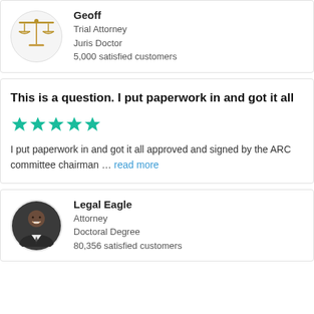[Figure (photo): Circular avatar with scales of justice icon, gold colored, for user Geoff]
Geoff
Trial Attorney
Juris Doctor
5,000 satisfied customers
This is a question. I put paperwork in and got it all
[Figure (other): Five teal/green star rating icons]
I put paperwork in and got it all approved and signed by the ARC committee chairman … read more
[Figure (photo): Circular avatar photo of Legal Eagle, a man in a suit smiling]
Legal Eagle
Attorney
Doctoral Degree
80,356 satisfied customers